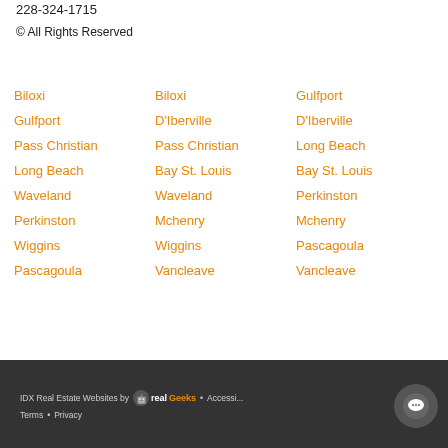228-324-1715
© All Rights Reserved
Biloxi
Gulfport
Pass Christian
Long Beach
Waveland
Perkinston
Wiggins
Pascagoula
Biloxi
D'Iberville
Pass Christian
Bay St. Louis
Waveland
Mchenry
Wiggins
Vancleave
Gulfport
D'Iberville
Long Beach
Bay St. Louis
Perkinston
Mchenry
Pascagoula
Vancleave
IDX Real Estate Websites by RealGeeks • Accessi... Terms • Privacy